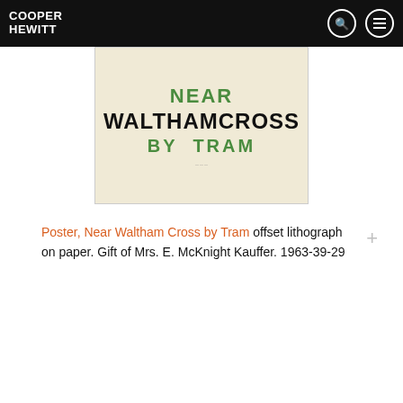COOPER HEWITT
[Figure (photo): A vintage transit poster showing text 'NEAR WALTHAMCROSS BY TRAM' on a cream/beige background. 'NEAR' and 'BY TRAM' are in green, 'WALTHAMCROSS' is in black bold type.]
Poster, Near Waltham Cross by Tram offset lithograph on paper. Gift of Mrs. E. McKnight Kauffer. 1963-39-29